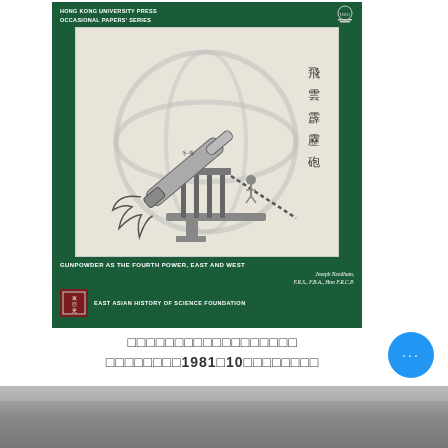[Figure (illustration): Book cover for Hong Kong University Press Occasional Papers Series No. 3. Dark green background. Title: GUNPOWDER AS THE FOURTH POWER, EAST AND WEST. Author: Joseph Needham, F.R.S., F.B.A., Hon F.R.C.P. Publisher: EAST ASIAN HISTORY OF SCIENCE FOUNDATION. Contains an illustration of a Chinese fire-lance weapon mounted on a stand with armillary sphere in background, and Chinese characters 飛雲霹靂砲 in top right.]
□□□□□□□□□□□□□□□□□□□□□□□□□1981□10□□□□□□□□
[Figure (photo): Partial bottom strip image, blurred/cropped photograph]